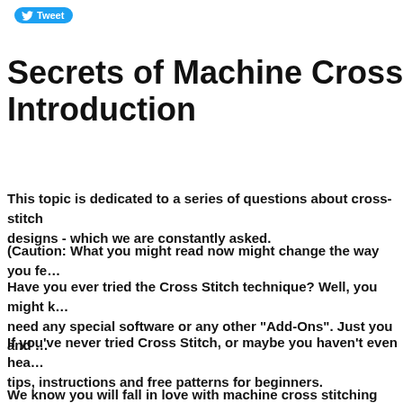[Figure (logo): Twitter Tweet button with bird icon, blue rounded rectangle]
Secrets of Machine Cross S… Introduction
This topic is dedicated to a series of questions about cross-stitch designs - which we are constantly asked.
(Caution: What you might read now might change the way you fe…
Have you ever tried the Cross Stitch technique? Well, you might k… need any special software or any other "Add-Ons". Just you and …
If you've never tried Cross Stitch, or maybe you haven't even hea… tips, instructions and free patterns for beginners.
We know you will fall in love with machine cross stitching and rec… way we did.
And here you can also including f…